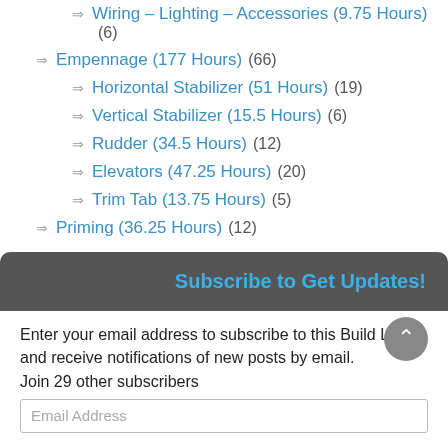Wiring – Lighting – Accessories (9.75 Hours) (6)
Empennage (177 Hours) (66)
Horizontal Stabilizer (51 Hours) (19)
Vertical Stabilizer (15.5 Hours) (6)
Rudder (34.5 Hours) (12)
Elevators (47.25 Hours) (20)
Trim Tab (13.75 Hours) (5)
Priming (36.25 Hours) (12)
Subscribe to Get Updates!
Enter your email address to subscribe to this Build Log and receive notifications of new posts by email.
Join 29 other subscribers